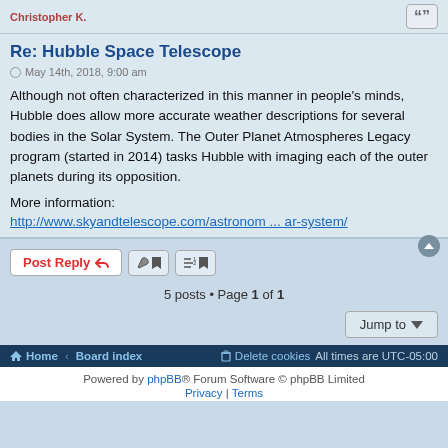Christopher K.
Re: Hubble Space Telescope
May 14th, 2018, 9:00 am
Although not often characterized in this manner in people's minds, Hubble does allow more accurate weather descriptions for several bodies in the Solar System. The Outer Planet Atmospheres Legacy program (started in 2014) tasks Hubble with imaging each of the outer planets during its opposition.
More information:
http://www.skyandtelescope.com/astronom ... ar-system/
5 posts • Page 1 of 1
Jump to
Home · Board index   Delete cookies   All times are UTC-05:00
Powered by phpBB® Forum Software © phpBB Limited
Privacy | Terms